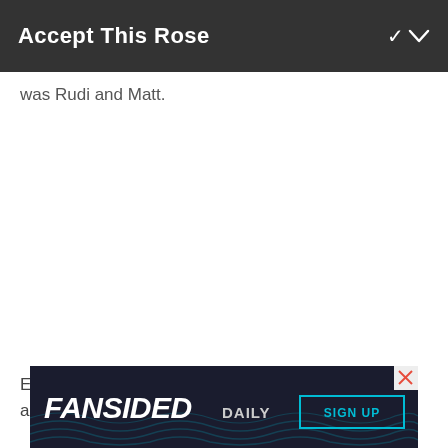Accept This Rose
was Rudi and Matt.
Everyone had a date this week, starting with Chris and
[Figure (screenshot): FanSided Daily advertisement banner with logo, DAILY text, SIGN UP button, and close X button, on a dark background with wave pattern]